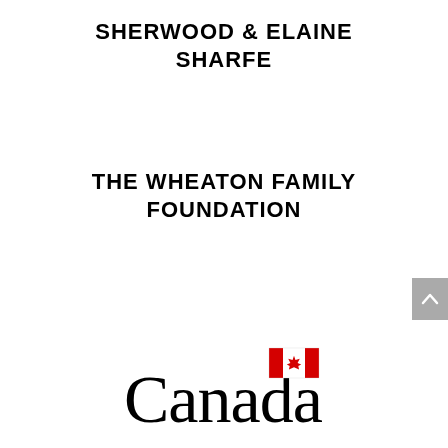SHERWOOD & ELAINE SHARFE
THE WHEATON FAMILY FOUNDATION
[Figure (logo): Government of Canada official wordmark: 'Canada' in black serif font with Canadian flag (red maple leaf on white between two red rectangles) superscript to the right]